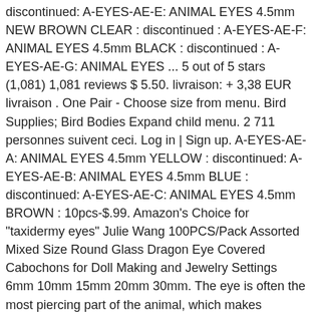discontinued: A-EYES-AE-E: ANIMAL EYES 4.5mm NEW BROWN CLEAR : discontinued : A-EYES-AE-F: ANIMAL EYES 4.5mm BLACK : discontinued : A-EYES-AE-G: ANIMAL EYES ... 5 out of 5 stars (1,081) 1,081 reviews $ 5.50. livraison: + 3,38 EUR livraison . One Pair - Choose size from menu. Bird Supplies; Bird Bodies Expand child menu. 2 711 personnes suivent ceci. Log in | Sign up. A-EYES-AE-A: ANIMAL EYES 4.5mm YELLOW : discontinued: A-EYES-AE-B: ANIMAL EYES 4.5mm BLUE : discontinued: A-EYES-AE-C: ANIMAL EYES 4.5mm BROWN : 10pcs-$.99. Amazon's Choice for "taxidermy eyes" Julie Wang 100PCS/Pack Assorted Mixed Size Round Glass Dragon Eye Covered Cabochons for Doll Making and Jewelry Settings 6mm 10mm 15mm 20mm 30mm. The eye is often the most piercing part of the animal, which makes taxidermy eyes vitally important. 5 out of 5 stars (1,206) 1,206 reviews $ 5.50. CharmersCorner. McKenzie Taxidermy offers premium quality glass bird eyes in a variety of styles, colors and sizes. For example countries like U.S.A, Canada, Australia, Asiatic